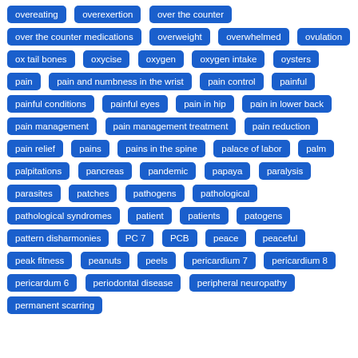overeating
overexertion
over the counter
over the counter medications
overweight
overwhelmed
ovulation
ox tail bones
oxycise
oxygen
oxygen intake
oysters
pain
pain and numbness in the wrist
pain control
painful
painful conditions
painful eyes
pain in hip
pain in lower back
pain management
pain management treatment
pain reduction
pain relief
pains
pains in the spine
palace of labor
palm
palpitations
pancreas
pandemic
papaya
paralysis
parasites
patches
pathogens
pathological
pathological syndromes
patient
patients
patogens
pattern disharmonies
PC 7
PCB
peace
peaceful
peak fitness
peanuts
peels
pericardium 7
pericardium 8
pericardum 6
periodontal disease
peripheral neuropathy
permanent scarring